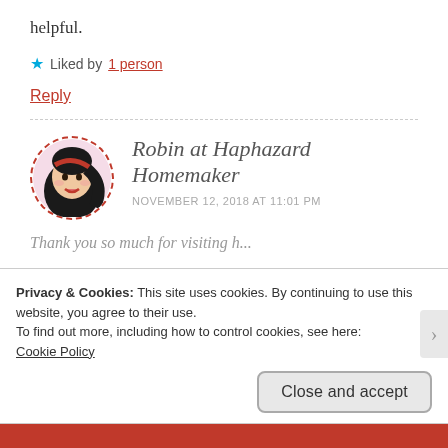helpful.
★ Liked by 1 person
Reply
Robin at Haphazard Homemaker
NOVEMBER 12, 2018 AT 11:01 PM
Privacy & Cookies: This site uses cookies. By continuing to use this website, you agree to their use.
To find out more, including how to control cookies, see here:
Cookie Policy
Close and accept